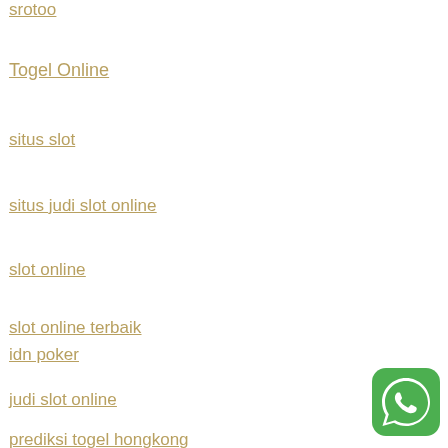srotoo
Togel Online
situs slot
situs judi slot online
slot online
slot online terbaik
idn poker
judi slot online
prediksi togel hongkong
syair togel hari ini
[Figure (logo): WhatsApp green icon button in bottom right corner]